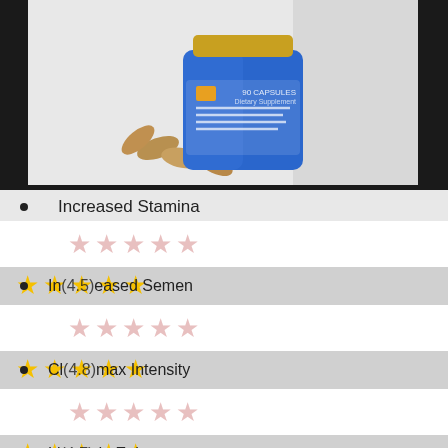[Figure (photo): Product photo of a blue supplement bottle with capsule pills scattered in front, on a light gray background]
Increased Stamina
[Figure (other): 5 empty/light stars rating row (white background)]
[Figure (other): 5 filled gold stars rating row with label (4.5) on gray background]
Increased Semen (4.5)
[Figure (other): 5 empty/light stars rating row (white background)]
[Figure (other): 5 filled gold stars rating row with label (4.8) on gray background]
Climax Intensity (4.8)
[Figure (other): 5 empty/light stars rating row (white background)]
[Figure (other): 5 filled gold stars rating row with label (4.7) on gray background]
Libido Enhancer (4.7)
[Figure (other): 5 empty/light stars rating row (white background), partially visible at bottom]